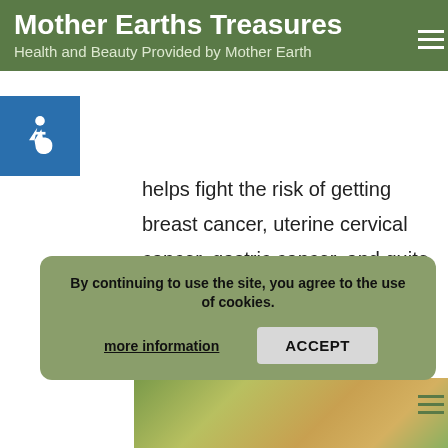Mother Earths Treasures
Health and Beauty Provided by Mother Earth
helps fight the risk of getting breast cancer, uterine cervical cancer, gastric cancer, and quite a lot more cancer types.
In a study by the University of Western Australia in Perth 2000 women who consumed at least a third of an ounce of fresh mushroom dropped their risk of getting breast cancer by 64%
By continuing to use the site, you agree to the use of cookies.
more information   ACCEPT
[Figure (photo): Photo of natural items, mushrooms or herbs, bottom of page]